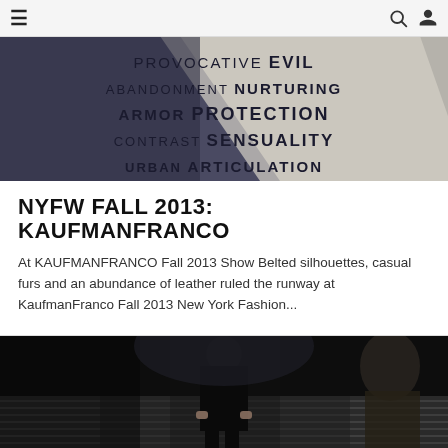navigation bar with hamburger menu, search, and user icons
[Figure (photo): Dark-toned image showing text words: PROVOCATIVE EVIL, ABANDONMENT NURTURING, ARMOR PROTECTION, CONTRAST SENSUALITY, URBAN ARTICULATION on a light background with dark geometric shapes]
NYFW FALL 2013: KAUFMANFRANCO
At KAUFMANFRANCO Fall 2013 Show Belted silhouettes, casual furs and an abundance of leather ruled the runway at KaufmanFranco Fall 2013 New York Fashion...
[Figure (photo): Fashion runway photo showing a model in all-black outfit walking on a metallic runway with audience in background]